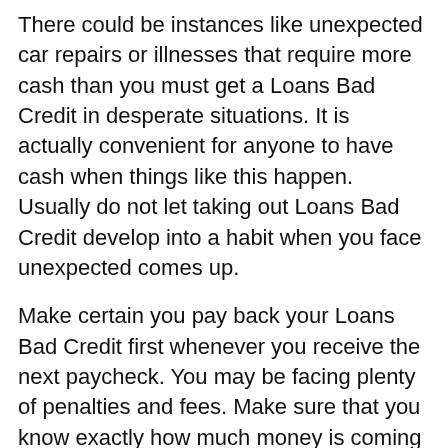There could be instances like unexpected car repairs or illnesses that require more cash than you must get a Loans Bad Credit in desperate situations. It is actually convenient for anyone to have cash when things like this happen. Usually do not let taking out Loans Bad Credit develop into a habit when you face unexpected comes up.
Make certain you pay back your Loans Bad Credit first whenever you receive the next paycheck. You may be facing plenty of penalties and fees. Make sure that you know exactly how much money is coming out of your next paycheck to pay the Loans Bad Credit.
A Loans Bad Credit should never something to casually consider after which leap into. Based on the quantity of interest the company charges you, you could turn out spending a lot of money simply for borrowing money a short period of time. You may have problems with using Loans Bad Credit firmly in your mind as financial emergency tools that happen to be only to be utilized as soon as your needs